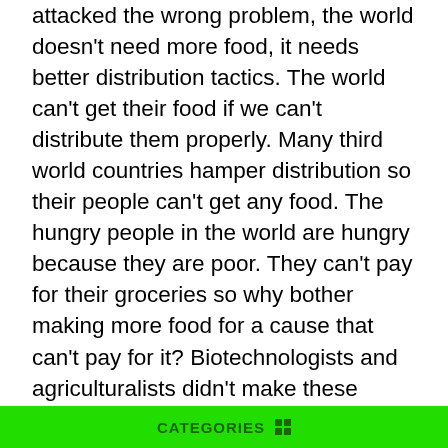attacked the wrong problem, the world doesn't need more food, it needs better distribution tactics. The world can't get their food if we can't distribute them properly. Many third world countries hamper distribution so their people can't get any food. The hungry people in the world are hungry because they are poor. They can't pay for their groceries so why bother making more food for a cause that can't pay for it? Biotechnologists and agriculturalists didn't make these foods because they care about benefitting the world and helping the poor, they made genetically modified foods because it benefits their businesses.
There are many, many consequences that can, will, and has happened because of genetically modified foods. Our health, plants, animals, and ecosystems are in great danger. We need to stop making these foods now before it's too late. If we don't, then there will be irreparable damage to the environment, all of our food supplies will be ruined, our overall health will be destroyed, and our life expectancy will decrease greatly. If we all come together, we can put an end to
CATEGORIES